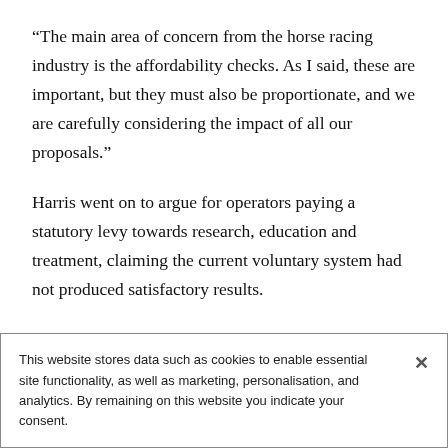“The main area of concern from the horse racing industry is the affordability checks. As I said, these are important, but they must also be proportionate, and we are carefully considering the impact of all our proposals.”
Harris went on to argue for operators paying a statutory levy towards research, education and treatment, claiming the current voluntary system had not produced satisfactory results.
Huddleston responded that the government would
This website stores data such as cookies to enable essential site functionality, as well as marketing, personalisation, and analytics. By remaining on this website you indicate your consent.